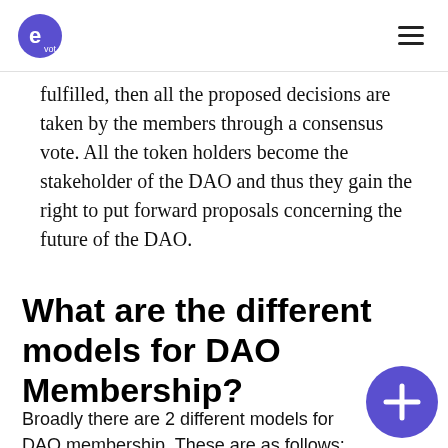pvot
fulfilled, then all the proposed decisions are taken by the members through a consensus vote. All the token holders become the stakeholder of the DAO and thus they gain the right to put forward proposals concerning the future of the DAO.
What are the different models for DAO Membership?
Broadly there are 2 different models for DAO membership. These are as follows: